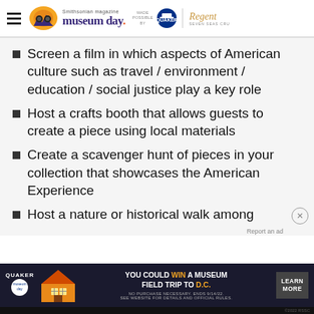Smithsonian magazine museum day. Made possible by QUAKER | Regent Seven Seas Cruises
Screen a film in which aspects of American culture such as travel / environment / education / social justice play a key role
Host a crafts booth that allows guests to create a piece using local materials
Create a scavenger hunt of pieces in your collection that showcases the American Experience
Host a nature or historical walk among
[Figure (infographic): Quaker advertisement banner: YOU COULD WIN A MUSEUM FIELD TRIP TO D.C. LEARN MORE. No purchase necessary. Ends 9/14/22. See website for details and official rules.]